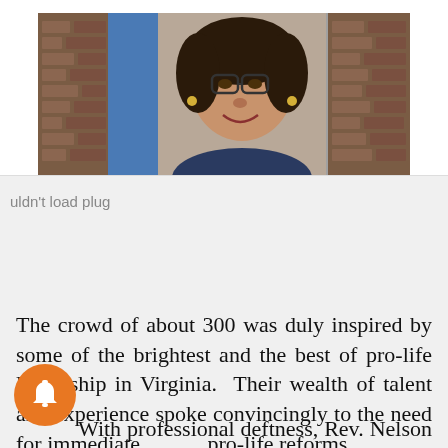[Figure (photo): Portrait photo of a woman with glasses, smiling, in front of a brick wall background]
uldn't load plug
The crowd of about 300 was duly inspired by some of the brightest and the best of pro-life leadership in Virginia.  Their wealth of talent and experience spoke convincingly to the need for immediate pro-life reforms.
With professional deftness, Rev. Nelson then drew the Rally to a close, precisely at the schedule...